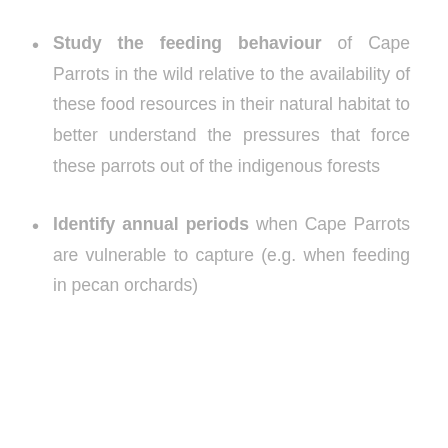Study the feeding behaviour of Cape Parrots in the wild relative to the availability of these food resources in their natural habitat to better understand the pressures that force these parrots out of the indigenous forests
Identify annual periods when Cape Parrots are vulnerable to capture (e.g. when feeding in pecan orchards)